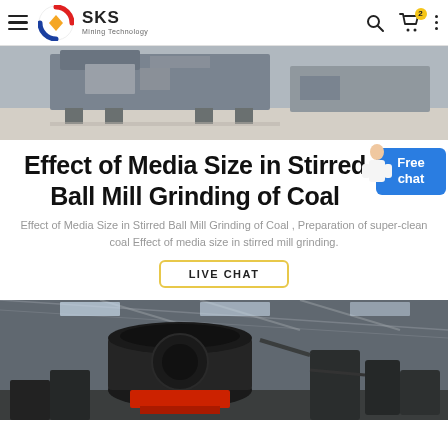SKS Mining Technology
[Figure (photo): Industrial machinery/equipment in a factory or warehouse setting, showing large gray/metal equipment on a concrete floor]
Effect of Media Size in Stirred Ball Mill Grinding of Coal
Effect of Media Size in Stirred Ball Mill Grinding of Coal , Preparation of super-clean coal Effect of media size in stirred mill grinding.
LIVE CHAT
[Figure (photo): Industrial grinding mill machinery inside a large factory/warehouse with metal roof structure, showing large black cylindrical grinding mills on red base]